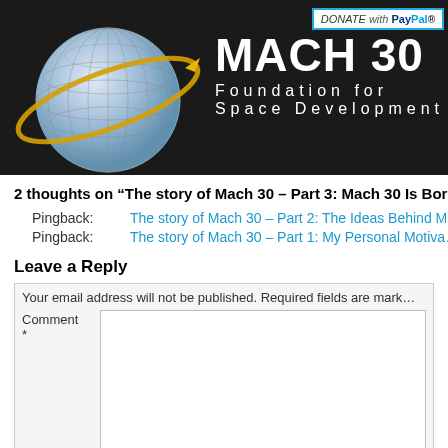[Figure (logo): Mach 30 Foundation for Space Development header with globe logo and PayPal donate button on dark background]
2 thoughts on “The story of Mach 30 – Part 3: Mach 30 Is Born
Pingback: The story of Mach 30 – Part 2: The Ideas Behind M…
Pingback: The story of Mach 30 – Part 1: My Personal Motiva…
Leave a Reply
Your email address will not be published. Required fields are mark…
Comment *